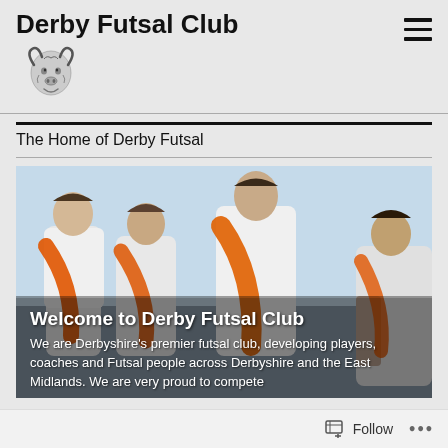Derby Futsal Club
[Figure (logo): Derby Futsal Club ram/goat head logo in black and white]
The Home of Derby Futsal
[Figure (photo): Futsal players wearing white jerseys and orange bibs/scarves gathered together, looking down]
Welcome to Derby Futsal Club
We are Derbyshire's premier futsal club, developing players, coaches and Futsal people across Derbyshire and the East Midlands. We are very proud to compete
Follow   ...